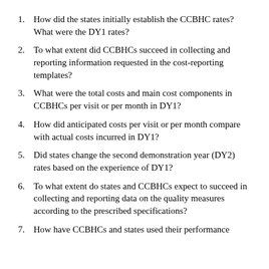1. How did the states initially establish the CCBHC rates? What were the DY1 rates?
2. To what extent did CCBHCs succeed in collecting and reporting information requested in the cost-reporting templates?
3. What were the total costs and main cost components in CCBHCs per visit or per month in DY1?
4. How did anticipated costs per visit or per month compare with actual costs incurred in DY1?
5. Did states change the second demonstration year (DY2) rates based on the experience of DY1?
6. To what extent do states and CCBHCs expect to succeed in collecting and reporting data on the quality measures according to the prescribed specifications?
7. How have CCBHCs and states used their performance